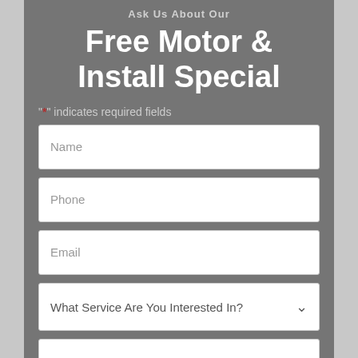Ask Us About Our
Free Motor & Install Special
"*" indicates required fields
Name
Phone
Email
What Service Are You Interested In?